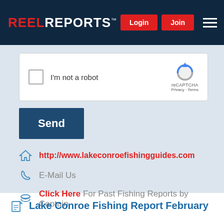REEL REPORTS
[Figure (screenshot): reCAPTCHA widget with checkbox and 'I'm not a robot' text, reCAPTCHA logo, Privacy and Terms links]
Send
http://www.lakeconroefishingguides.com
E-Mail Us
Click Here For Past Fishing Reports by Captain
Lake Conroe Fishing Report February